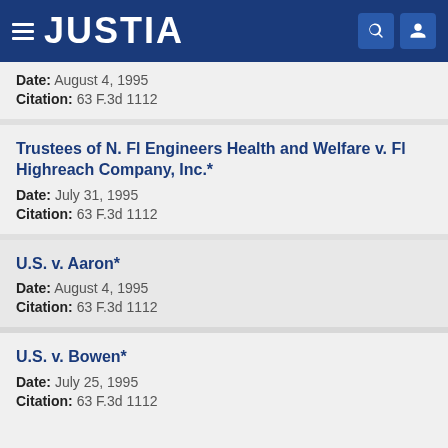JUSTIA
Date: August 4, 1995
Citation: 63 F.3d 1112
Trustees of N. Fl Engineers Health and Welfare v. Fl Highreach Company, Inc.*
Date: July 31, 1995
Citation: 63 F.3d 1112
U.S. v. Aaron*
Date: August 4, 1995
Citation: 63 F.3d 1112
U.S. v. Bowen*
Date: July 25, 1995
Citation: 63 F.3d 1112